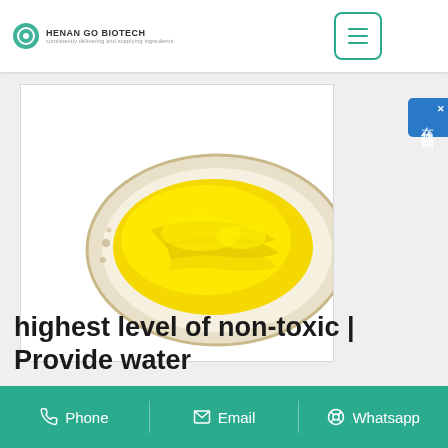HENAN GO BIOTECH
[Figure (photo): A plate/dish with bright yellow powder (likely curcumin or similar food-grade pigment) on a white background.]
highest level of non-toxic | Provide water
Phone   Email   Whatsapp